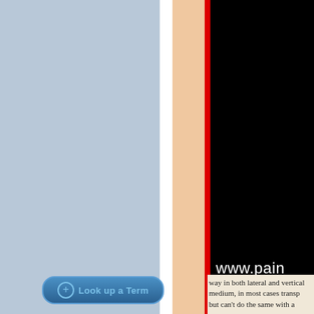[Figure (screenshot): App interface screenshot showing left blue-gray panel, white strip, peach/cream strip, red border, and black panel with partial URL text 'www.pain' visible in white on black background]
way in both lateral and vertical medium, in most cases transp but can't do the same with a
[Figure (other): Blue glossy 'Look up a Term' button with plus circle icon at bottom left of panel]